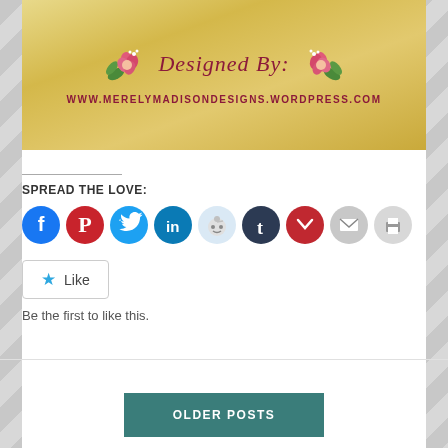[Figure (illustration): Gold/yellow textured banner with floral decorations and text 'Designed By:' in cursive script, with URL www.merelymadisondesigns.wordpress.com below in uppercase serif letters]
SPREAD THE LOVE:
[Figure (infographic): Row of social sharing icons: Facebook (blue), Pinterest (red), Twitter (cyan), LinkedIn (teal), Reddit (light blue), Tumblr (dark navy), Pocket (red), Email (gray), Print (gray)]
[Figure (other): Like button with star icon and 'Like' text in a rounded rectangle border]
Be the first to like this.
OLDER POSTS